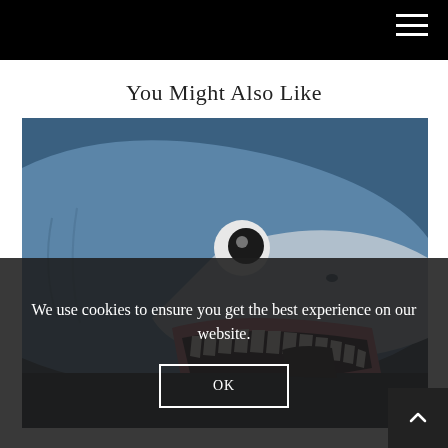You Might Also Like
[Figure (photo): Close-up photo of a realistic shark model or animatronic with blue-grey skin, white teeth, and an open jaw.]
We use cookies to ensure you get the best experience on our website.
OK